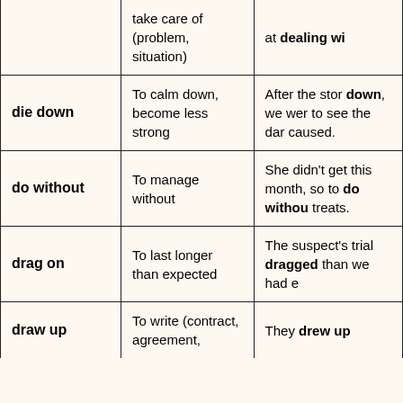| Phrasal Verb | Definition | Example |
| --- | --- | --- |
| deal with (partial) | take care of (problem, situation) | at dealing wi... |
| die down | To calm down, become less strong | After the stor... down, we wer... to see the dar... caused. |
| do without | To manage without | She didn't get... this month, so... to do withou... treats. |
| drag on | To last longer than expected | The suspect's trial dragged... than we had e... |
| draw up | To write (contract, agreement,... | They drew up... |